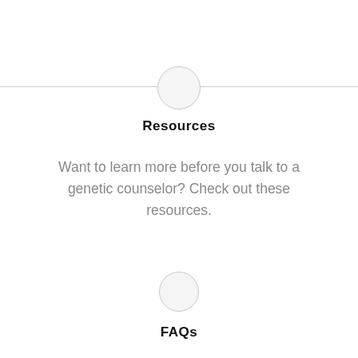[Figure (illustration): Small circle icon at the top, partially above a horizontal dividing line]
Resources
Want to learn more before you talk to a genetic counselor? Check out these resources.
[Figure (illustration): Small circle icon near the bottom section divider]
FAQs